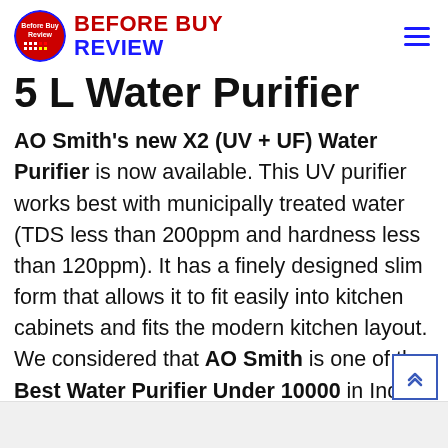Before Buy Review
5 L Water Purifier
AO Smith's new X2 (UV + UF) Water Purifier is now available. This UV purifier works best with municipally treated water (TDS less than 200ppm and hardness less than 120ppm). It has a finely designed slim form that allows it to fit easily into kitchen cabinets and fits the modern kitchen layout. We considered that AO Smith is one of the Best Water Purifier Under 10000 in India.